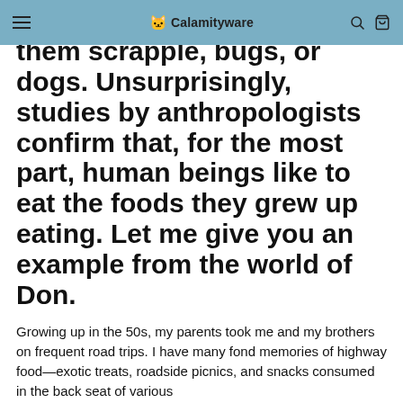Calamityware
because their parents fed them scrapple, bugs, or dogs. Unsurprisingly, studies by anthropologists confirm that, for the most part, human beings like to eat the foods they grew up eating. Let me give you an example from the world of Don.
Growing up in the 50s, my parents took me and my brothers on frequent road trips. I have many fond memories of highway food—exotic treats, roadside picnics, and snacks consumed in the back seat of various